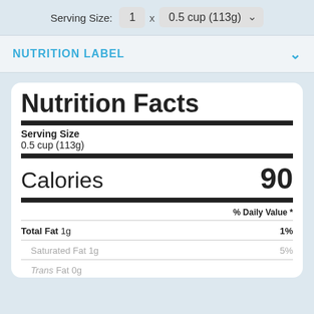Serving Size: 1 x 0.5 cup (113g)
NUTRITION LABEL
| Nutrition Facts |
| Serving Size |  |
| 0.5 cup (113g) |  |
| Calories | 90 |
| % Daily Value * |
| Total Fat 1g | 1% |
| Saturated Fat 1g | 5% |
| Trans Fat 0g |  |